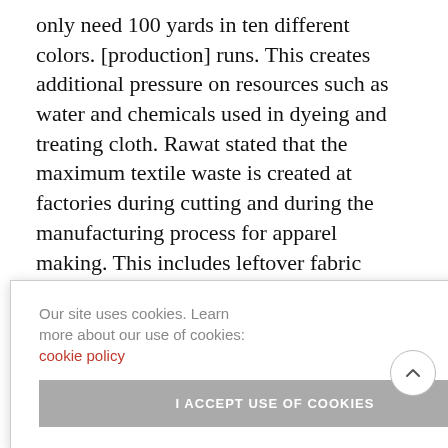only need 100 yards in ten different colors. [production] runs. This creates additional pressure on resources such as water and chemicals used in dyeing and treating cloth. Rawat stated that the maximum textile waste is created at factories during cutting and during the manufacturing process for apparel making. This includes leftover fabric scraps.
According to McKinsey, the excess inventory of
Our site uses cookies. Learn more about our use of cookies: cookie policy
I ACCEPT USE OF COOKIES
wasteful fashion industry